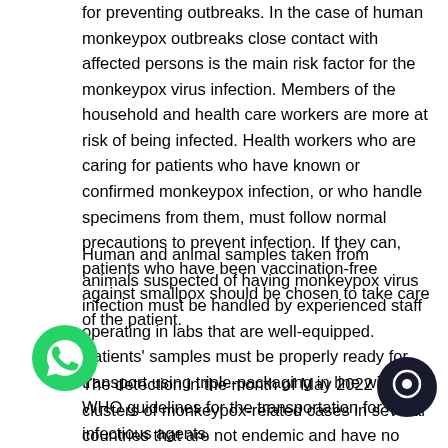for preventing outbreaks. In the case of human monkeypox outbreaks close contact with affected persons is the main risk factor for the monkeypox virus infection. Members of the household and health care workers are more at risk of being infected. Health workers who are caring for patients who have known or confirmed monkeypox infection, or who handle specimens from them, must follow normal precautions to prevent infection. If they can, patients who have been vaccination-free against smallpox should be chosen to take care of the patient.
Human and animal samples taken from animals suspected of having monkeypox virus infection must be handled by experienced staff operating in labs that are well-equipped. Patients' samples must be properly ready for transport using triple-packaging in line with WHO guidelines for the transportation for infectious agents.
The detection in the month of May 2022 of clusters of monkeypox-related cases in several countries that are not endemic and have no travel connections to the endemic region is unusual. Additional investigations are being conducted to identify the probable cause of the infection and to limit the spread. Since